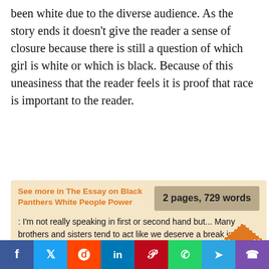been white due to the diverse audience. As the story ends it doesn't give the reader a sense of closure because there is still a question of which girl is white or which is black. Because of this uneasiness that the reader feels it is proof that race is important to the reader.
See more in The Essay on Black Panthers White People Power
2 pages, 729 words
: I'm not really speaking in first or second hand but... Many brothers and sisters tend to act like we deserve a break in society.
f  Twitter  Reddit  in  Pinterest  WhatsApp  Telegram  Viber